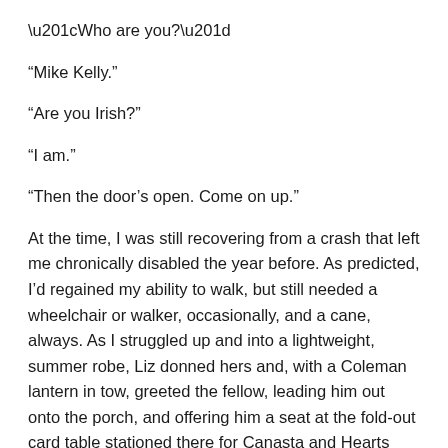“Who are you?”
“Mike Kelly.”
“Are you Irish?”
“I am.”
“Then the door’s open. Come on up.”
At the time, I was still recovering from a crash that left me chronically disabled the year before. As predicted, I’d regained my ability to walk, but still needed a wheelchair or walker, occasionally, and a cane, always. As I struggled up and into a lightweight, summer robe, Liz donned hers and, with a Coleman lantern in tow, greeted the fellow, leading him out onto the porch, and offering him a seat at the fold-out card table stationed there for Canasta and Hearts competitions whenever family or friends visited